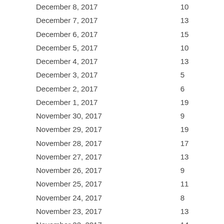| Date | Value |
| --- | --- |
| December 8, 2017 | 10... |
| December 7, 2017 | 13... |
| December 6, 2017 | 15... |
| December 5, 2017 | 10... |
| December 4, 2017 | 13... |
| December 3, 2017 | 5 |
| December 2, 2017 | 6 |
| December 1, 2017 | 19... |
| November 30, 2017 | 9 |
| November 29, 2017 | 19... |
| November 28, 2017 | 17... |
| November 27, 2017 | 13... |
| November 26, 2017 | 9 |
| November 25, 2017 | 11... |
| November 24, 2017 | 8 |
| November 23, 2017 | 13... |
| November 22, 2017 | 14... |
| November 21, 2017 | 7 |
| November 20, 2017 | 9 |
| November 19, 2017 | 4 |
| November 18, 2017 | 8 |
| November 17, 2017 | 13... |
| November 16, 2017 | 13... |
| November 15, 2017 | 16... |